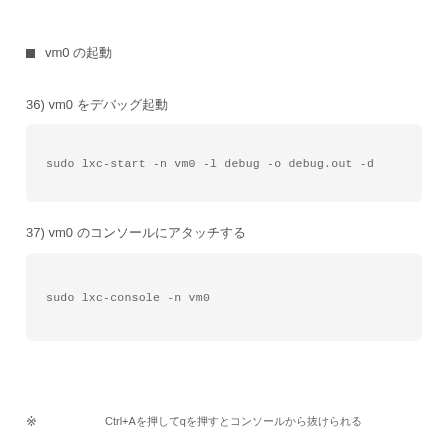■ vm0 の起動
36) vm0 をデバッグ起動
sudo lxc-start -n vm0 -l debug -o debug.out -d
37) vm0 のコンソールにアタッチする
sudo lxc-console -n vm0
※	Ctrl+Aを押してqを押すとコンソールから抜けられる